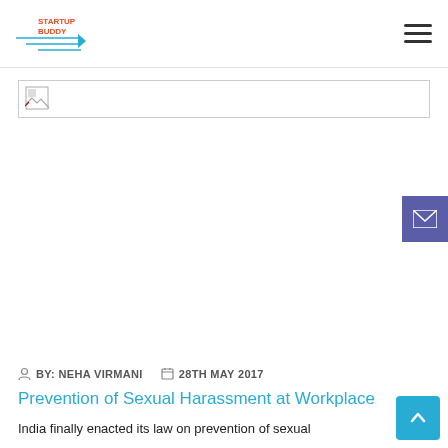Startup Buddy
[Figure (illustration): Broken image placeholder thumbnail in a bordered box]
[Figure (illustration): Email/envelope icon button on purple background on right side]
BY: NEHA VIRMANI   28TH MAY 2017
Prevention of Sexual Harassment at Workplace
India finally enacted its law on prevention of sexual